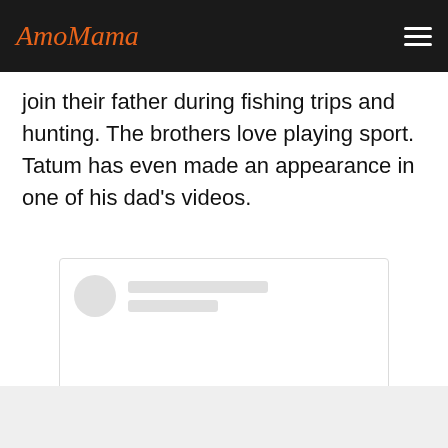AmoMama
join their father during fishing trips and hunting. The brothers love playing sport. Tatum has even made an appearance in one of his dad's videos.
[Figure (screenshot): Instagram embed placeholder showing avatar placeholder lines at top, Instagram camera icon in center, and 'View this post on Instagram' link at bottom]
View this post on Instagram